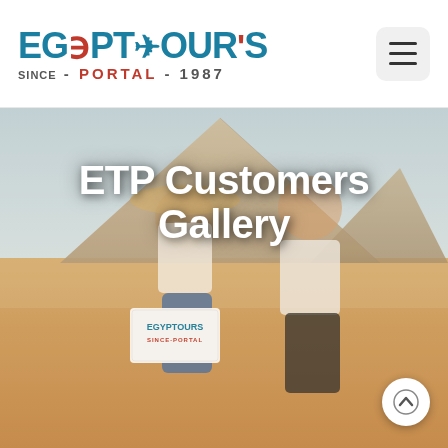[Figure (logo): Egypt Tours Portal logo with teal/red text, ankh symbol, and airplane icon. Text reads 'EGYPT TOURS' on top line and 'SINCE - PORTAL - 1987' on bottom line.]
[Figure (photo): A couple sitting on sandy ground in front of the Egyptian pyramids. The woman wears a white top, blue jeans, and a wide-brim hat while holding an Egypt Tours Portal sign. The man wears a white t-shirt and has sunglasses on his head. Sunny desert scene.]
ETP Customers Gallery